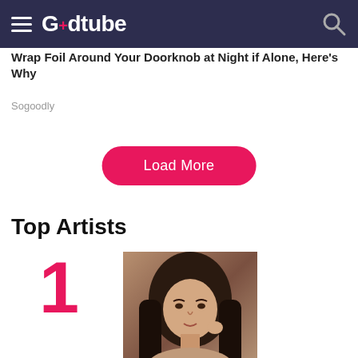Godtube
Wrap Foil Around Your Doorknob at Night if Alone, Here's Why
Sogoodly
Load More
Top Artists
1
[Figure (photo): Photo of Kari Jobe, a woman with long dark hair]
KARI JOBE
2
[Figure (photo): Photo of a crown of thorns]